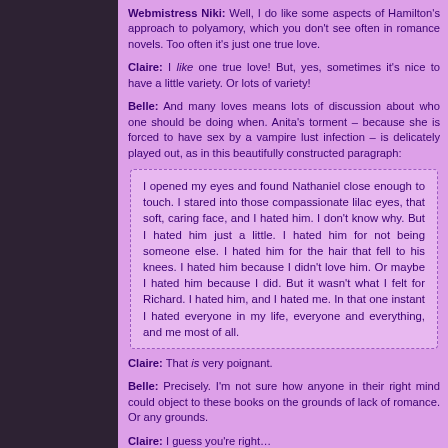Webmistress Niki: Well, I do like some aspects of Hamilton's approach to polyamory, which you don't see often in romance novels. Too often it's just one true love.
Claire: I like one true love! But, yes, sometimes it's nice to have a little variety. Or lots of variety!
Belle: And many loves means lots of discussion about who one should be doing when. Anita's torment – because she is forced to have sex by a vampire lust infection – is delicately played out, as in this beautifully constructed paragraph:
I opened my eyes and found Nathaniel close enough to touch. I stared into those compassionate lilac eyes, that soft, caring face, and I hated him. I don't know why. But I hated him just a little. I hated him for not being someone else. I hated him for the hair that fell to his knees. I hated him because I didn't love him. Or maybe I hated him because I did. But it wasn't what I felt for Richard. I hated him, and I hated me. In that one instant I hated everyone in my life, everyone and everything, and me most of all.
Claire: That is very poignant.
Belle: Precisely. I'm not sure how anyone in their right mind could object to these books on the grounds of lack of romance. Or any grounds.
Claire: I guess you're right…